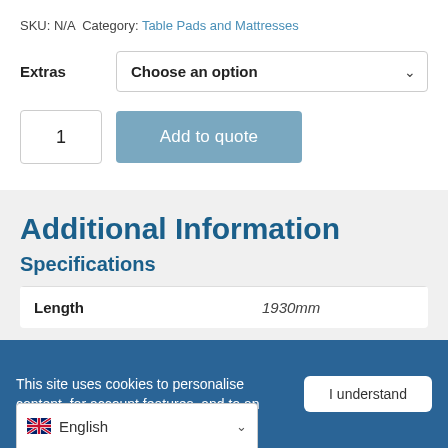SKU: N/A Category: Table Pads and Mattresses
Extras — Choose an option (dropdown)
1 (quantity) — Add to quote (button)
Additional Information
Specifications
| Length |  |
| --- | --- |
| Length | 1930mm |
This site uses cookies to personalise content, for account features, and to an...
I understand
English